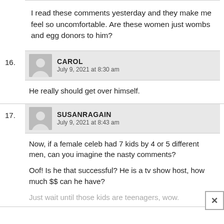I read these comments yesterday and they make me feel so uncomfortable. Are these women just wombs and egg donors to him?
16. CAROL
July 9, 2021 at 8:30 am
He really should get over himself.
17. SUSANRAGAIN
July 9, 2021 at 8:43 am
Now, if a female celeb had 7 kids by 4 or 5 different men, can you imagine the nasty comments?

Oof! Is he that successful? He is a tv show host, how much $$ can he have?

Just wait until those kids are teenagers, wow.